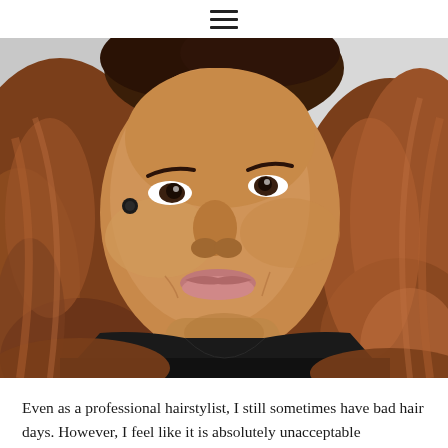≡
[Figure (photo): Close-up selfie of a Black woman with long wavy auburn/reddish-brown hair, wearing a black V-neck top, smiling slightly, looking up and to the side. Light background.]
Even as a professional hairstylist, I still sometimes have bad hair days. However, I feel like it is absolutely unacceptable